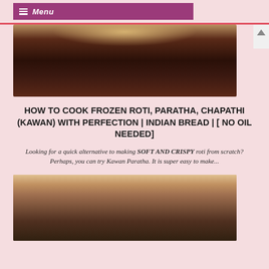☰ Menu
[Figure (photo): Close-up photo of a dark brown curved surface, likely a cooking pan or tawa, with a golden-brown edge visible at the top]
HOW TO COOK FROZEN ROTI, PARATHA, CHAPATHI (KAWAN) WITH PERFECTION | INDIAN BREAD | [ NO OIL NEEDED]
Looking for a quick alternative to making SOFT AND CRISPY roti from scratch? Perhaps, you can try Kawan Paratha. It is super easy to make...
[Figure (photo): Photo showing a person sitting on steps made of light peach/tan colored tiles, partially visible from below]